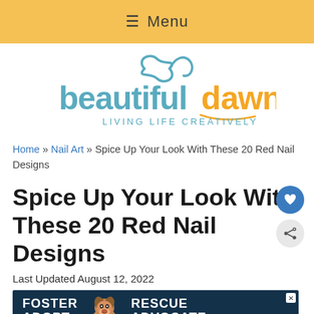≡ Menu
[Figure (logo): Beautiful Dawn logo with script infinity symbol, blue text 'beautiful' and orange text 'dawn', tagline 'LIVING LIFE CREATIVELY' in blue]
Home » Nail Art » Spice Up Your Look With These 20 Red Nail Designs
Spice Up Your Look With These 20 Red Nail Designs
Last Updated August 12, 2022
[Figure (screenshot): Advertisement banner: dark navy background with 'FOSTER ADOPT' in white bold text on left, dog photo in center, 'RESCUE ADVOCATE' in white bold text on right, close button top right]